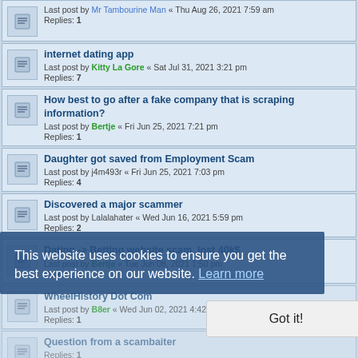Last post by Mr Tambourine Man « Thu Aug 26, 2021 7:59 am
Replies: 1
internet dating app
Last post by Kitty La Gore « Sat Jul 31, 2021 3:21 pm
Replies: 7
How best to go after a fake company that is scraping information?
Last post by Bertje « Fri Jun 25, 2021 7:21 pm
Replies: 1
Daughter got saved from Employment Scam
Last post by j4m493r « Fri Jun 25, 2021 7:03 pm
Replies: 4
Discovered a major scammer
Last post by Lalalahater « Wed Jun 16, 2021 5:59 pm
Replies: 2
Dating -> Betting website scam, lost 40k$
Last post by Bertje « Tue Jun 08, 2021 1:50 pm
Replies: 1
WheelHistory Dot Com
Last post by B8er « Wed Jun 02, 2021 4:42 am
Replies: 1
Question from a scambaiter
Replies: 1
Elaborate airbnb scam
Last post by B8er « Wed Jan 27, 2021 6:56 pm
Replies: 1
Newbie Question and Scammer information
Last post by bware419ers « Mon Jan 04, 2021 7:46 pm
Replies: 1
This website uses cookies to ensure you get the best experience on our website. Learn more
Got it!